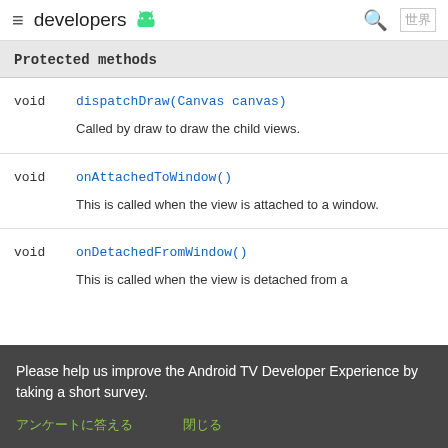≡ developers 🤖 🔍 🌐
Protected methods
| Return | Method |
| --- | --- |
| void | dispatchDraw(Canvas canvas) — Called by draw to draw the child views. |
| void | onAttachedToWindow() — This is called when the view is attached to a window. |
| void | onDetachedFromWindow() — This is called when the view is detached from a |
Please help us improve the Android TV Developer Experience by taking a short survey.
アンケートに答える  閉じる